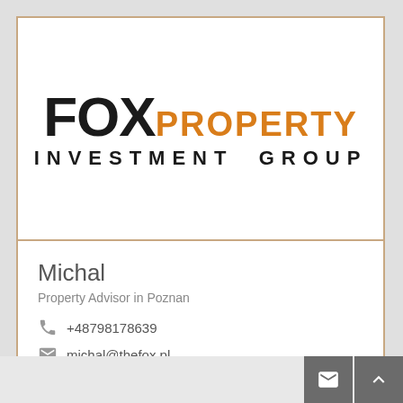[Figure (logo): Fox Property Investment Group logo. 'FOX' in large black bold letters, 'PROPERTY' in orange bold letters beside it, 'INVESTMENT GROUP' in bold spaced black letters below.]
Michal
Property Advisor in Poznan
+48798178639
michal@thefox.pl